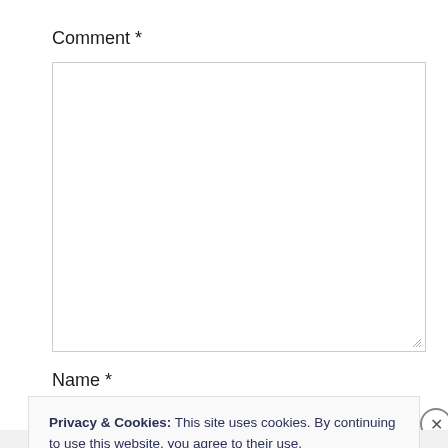Comment *
[Figure (other): Empty comment textarea with resize handle in bottom-right corner]
Name *
Privacy & Cookies: This site uses cookies. By continuing to use this website, you agree to their use.
To find out more, including how to control cookies, see here: Cookie Policy
Close and accept